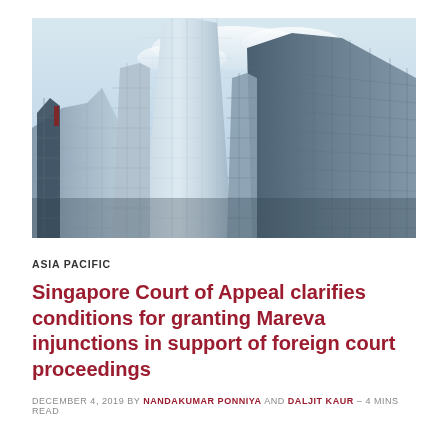[Figure (photo): Upward-angled photograph of tall glass skyscrapers against a light blue sky, viewed from ground level]
ASIA PACIFIC
Singapore Court of Appeal clarifies conditions for granting Mareva injunctions in support of foreign court proceedings
DECEMBER 4, 2019 by NANDAKUMAR PONNIYA AND DALJIT KAUR – 4 MINS READ